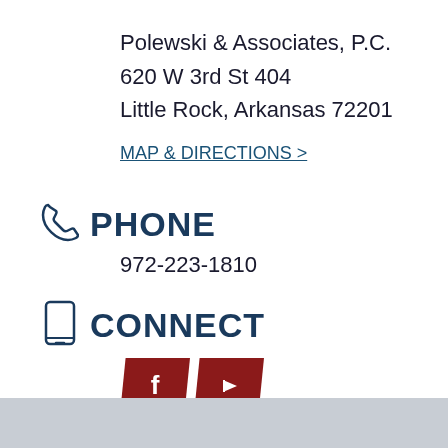Polewski & Associates, P.C.
620 W 3rd St 404
Little Rock, Arkansas 72201
MAP & DIRECTIONS >
PHONE
972-223-1810
CONNECT
[Figure (logo): Facebook and YouTube social media icons as red parallelogram buttons with white f and play icons]